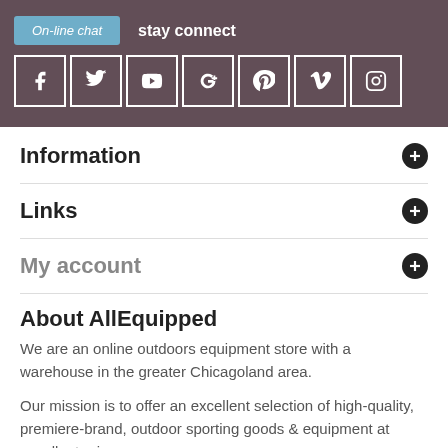On-line chat
stay connect
[Figure (other): Row of 7 social media icon boxes: Facebook, Twitter, YouTube, Google+, Pinterest, Vimeo, Instagram]
Information
Links
My account
About AllEquipped
We are an online outdoors equipment store with a warehouse in the greater Chicagoland area.
Our mission is to offer an excellent selection of high-quality, premiere-brand, outdoor sporting goods & equipment at excellent prices.